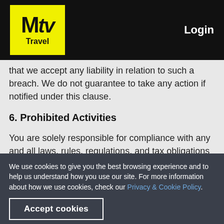MTV Travel — Login
that we accept any liability in relation to such a breach. We do not guarantee to take any action if notified under this clause.
6. Prohibited Activities
You are solely responsible for compliance with any and all laws, rules, regulations, and tax obligations that may apply to your use of the Travlr Platform.In connection with your access, browsing and use of the Travlr
We use cookies to give you the best browsing experience and to help us understand how you use our site. For more information about how we use cookies, check our Privacy & Cookie Policy.
Accept cookies